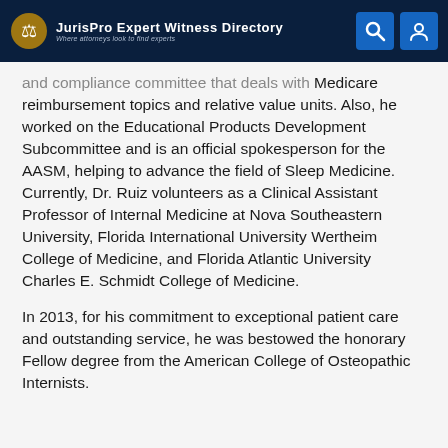JurisPro Expert Witness Directory — Where attorneys look to find experts
and compliance committee that deals with Medicare reimbursement topics and relative value units. Also, he worked on the Educational Products Development Subcommittee and is an official spokesperson for the AASM, helping to advance the field of Sleep Medicine. Currently, Dr. Ruiz volunteers as a Clinical Assistant Professor of Internal Medicine at Nova Southeastern University, Florida International University Wertheim College of Medicine, and Florida Atlantic University Charles E. Schmidt College of Medicine.
In 2013, for his commitment to exceptional patient care and outstanding service, he was bestowed the honorary Fellow degree from the American College of Osteopathic Internists.